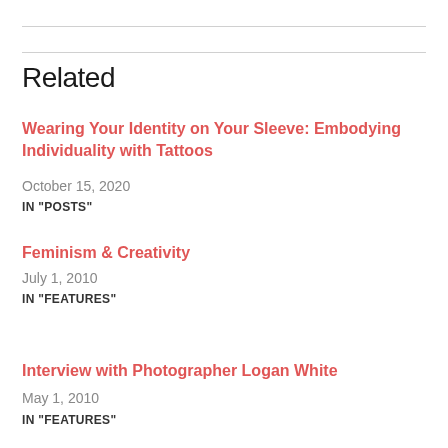Related
Wearing Your Identity on Your Sleeve: Embodying Individuality with Tattoos
October 15, 2020
IN "POSTS"
Feminism & Creativity
July 1, 2010
IN "FEATURES"
Interview with Photographer Logan White
May 1, 2010
IN "FEATURES"